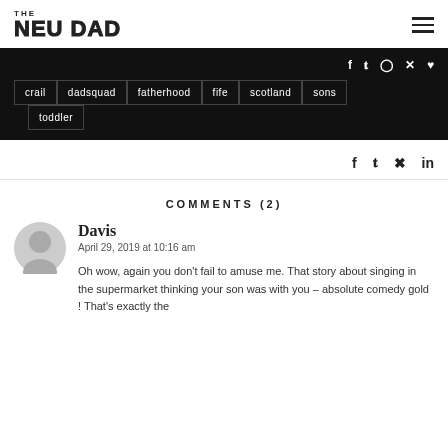THE NEU DAD
crail | dadsquad | fatherhood | fife | scotland | sons | toddler
f  t  (instagram)  (pinterest)  (heart)
f  t  (pinterest)  in
COMMENTS (2)
Davis
April 29, 2019 at 10:16 am
Oh wow, again you don't fail to amuse me. That story about singing in the supermarket thinking your son was with you – absolute comedy gold ! That's exactly the